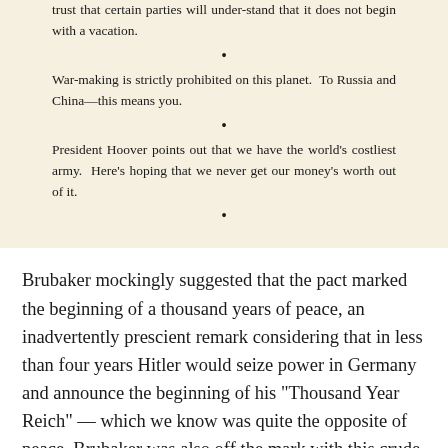trust that certain parties will understand that it does not begin with a vacation.
War-making is strictly prohibited on this planet. To Russia and China—this means you.
President Hoover points out that we have the world's costliest army. Here's hoping that we never get our money's worth out of it.
Brubaker mockingly suggested that the pact marked the beginning of a thousand years of peace, an inadvertently prescient remark considering that in less than four years Hitler would seize power in Germany and announce the beginning of his "Thousand Year Reich" — which we know was quite the opposite of peace. Brubaker was also off the mark with this crude observation: